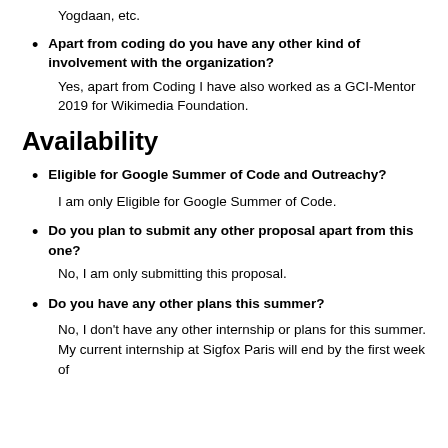Yogdaan, etc.
Apart from coding do you have any other kind of involvement with the organization?
Yes, apart from Coding I have also worked as a GCI-Mentor 2019 for Wikimedia Foundation.
Availability
Eligible for Google Summer of Code and Outreachy?
I am only Eligible for Google Summer of Code.
Do you plan to submit any other proposal apart from this one?
No, I am only submitting this proposal.
Do you have any other plans this summer?
No, I don't have any other internship or plans for this summer. My current internship at Sigfox Paris will end by the first week of